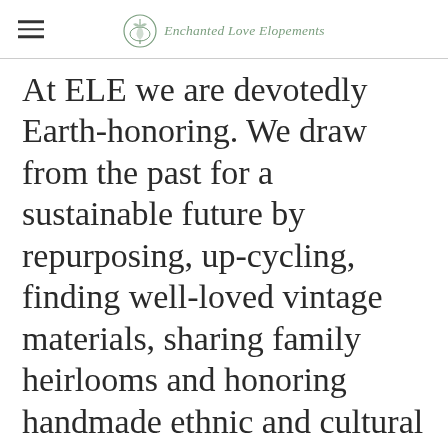Enchanted Love Elopements
At ELE we are devotedly Earth-honoring. We draw from the past for a sustainable future by repurposing, up-cycling, finding well-loved vintage materials, sharing family heirlooms and honoring handmade ethnic and cultural fabrics in our designs. Wherever we can, we use renewable resources such as sola-wood handmade flowers which we hand-paint and reform into Forever Keepsake Bouquets.